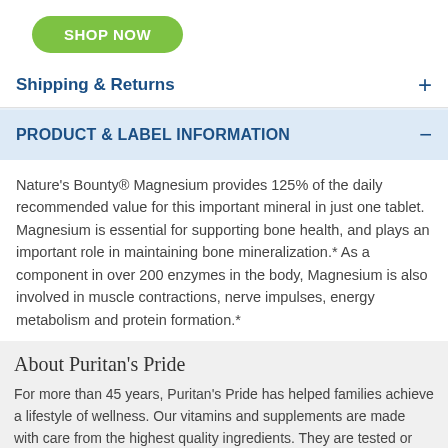[Figure (other): Green rounded rectangle button with text SHOP NOW in white bold uppercase letters]
Shipping & Returns
PRODUCT & LABEL INFORMATION
Nature's Bounty® Magnesium provides 125% of the daily recommended value for this important mineral in just one tablet. Magnesium is essential for supporting bone health, and plays an important role in maintaining bone mineralization.* As a component in over 200 enzymes in the body, Magnesium is also involved in muscle contractions, nerve impulses, energy metabolism and protein formation.*
About Puritan's Pride
For more than 45 years, Puritan's Pride has helped families achieve a lifestyle of wellness. Our vitamins and supplements are made with care from the highest quality ingredients. They are tested or inspected as many as 15 times throughout the manufacturing process. That's why you can shop with confidence. We take pride in our